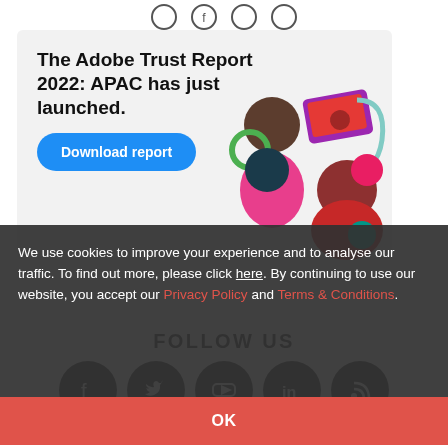[Figure (illustration): Top social media icon circles row (partial, cropped at top)]
[Figure (illustration): Adobe Trust Report 2022 APAC promotional card with title, Download report button, and decorative figures illustration on right side]
We use cookies to improve your experience and to analyse our traffic. To find out more, please click here. By continuing to use our website, you accept our Privacy Policy and Terms & Conditions.
OK
FOLLOW US
[Figure (illustration): Row of social media icons: Facebook, Twitter, YouTube, LinkedIn, RSS feed]